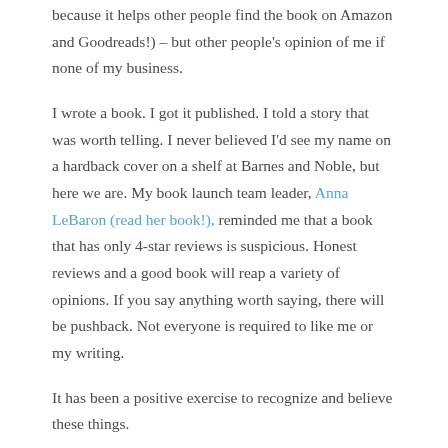because it helps other people find the book on Amazon and Goodreads!) – but other people's opinion of me if none of my business.
I wrote a book. I got it published. I told a story that was worth telling. I never believed I'd see my name on a hardback cover on a shelf at Barnes and Noble, but here we are. My book launch team leader, Anna LeBaron (read her book!), reminded me that a book that has only 4-star reviews is suspicious. Honest reviews and a good book will reap a variety of opinions. If you say anything worth saying, there will be pushback. Not everyone is required to like me or my writing.
It has been a positive exercise to recognize and believe these things.